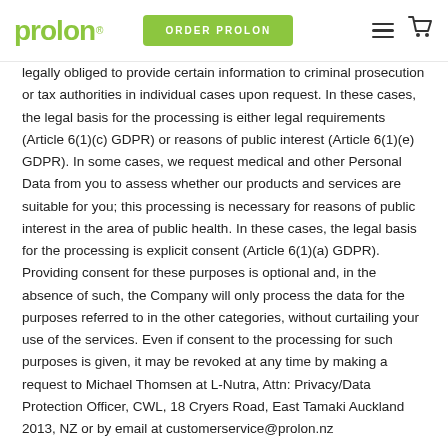prolon® | ORDER PROLON
legally obliged to provide certain information to criminal prosecution or tax authorities in individual cases upon request. In these cases, the legal basis for the processing is either legal requirements (Article 6(1)(c) GDPR) or reasons of public interest (Article 6(1)(e) GDPR). In some cases, we request medical and other Personal Data from you to assess whether our products and services are suitable for you; this processing is necessary for reasons of public interest in the area of public health. In these cases, the legal basis for the processing is explicit consent (Article 6(1)(a) GDPR). Providing consent for these purposes is optional and, in the absence of such, the Company will only process the data for the purposes referred to in the other categories, without curtailing your use of the services. Even if consent to the processing for such purposes is given, it may be revoked at any time by making a request to Michael Thomsen at L-Nutra, Attn: Privacy/Data Protection Officer, CWL, 18 Cryers Road, East Tamaki Auckland 2013, NZ or by email at customerservice@prolon.nz
The following table provides additional information about our use of